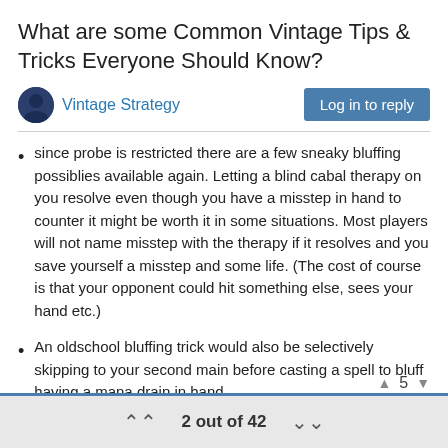What are some Common Vintage Tips & Tricks Everyone Should Know?
Vintage Strategy
since probe is restricted there are a few sneaky bluffing possiblies available again. Letting a blind cabal therapy on you resolve even though you have a misstep in hand to counter it might be worth it in some situations. Most players will not name misstep with the therapy if it resolves and you save yourself a misstep and some life. (The cost of course is that your opponent could hit something else, sees your hand etc.)
An oldschool bluffing trick would also be selectively skipping to your second main before casting a spell to bluff having a mana drain in hand.
There are so many more...
2 out of 42